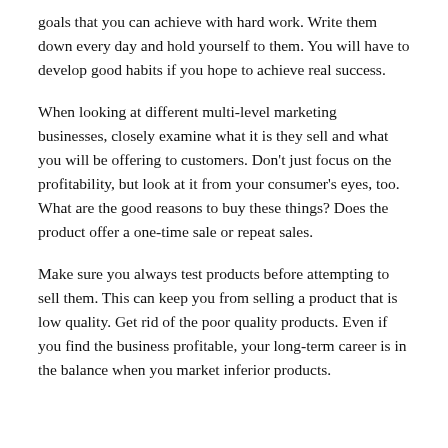goals that you can achieve with hard work. Write them down every day and hold yourself to them. You will have to develop good habits if you hope to achieve real success.
When looking at different multi-level marketing businesses, closely examine what it is they sell and what you will be offering to customers. Don't just focus on the profitability, but look at it from your consumer's eyes, too. What are the good reasons to buy these things? Does the product offer a one-time sale or repeat sales.
Make sure you always test products before attempting to sell them. This can keep you from selling a product that is low quality. Get rid of the poor quality products. Even if you find the business profitable, your long-term career is in the balance when you market inferior products.